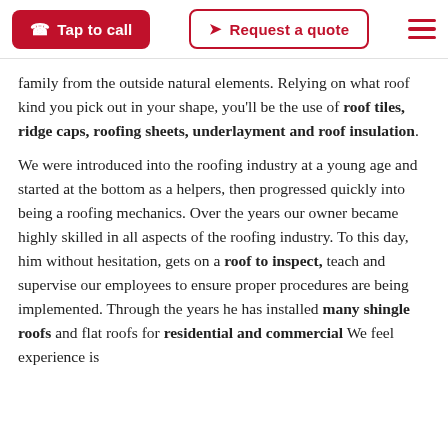Tap to call | Request a quote
family from the outside natural elements. Relying on what roof kind you pick out in your shape, you'll be the use of roof tiles, ridge caps, roofing sheets, underlayment and roof insulation.
We were introduced into the roofing industry at a young age and started at the bottom as a helpers, then progressed quickly into being a roofing mechanics. Over the years our owner became highly skilled in all aspects of the roofing industry. To this day, him without hesitation, gets on a roof to inspect, teach and supervise our employees to ensure proper procedures are being implemented. Through the years he has installed many shingle roofs and flat roofs for residential and commercial We feel experience is